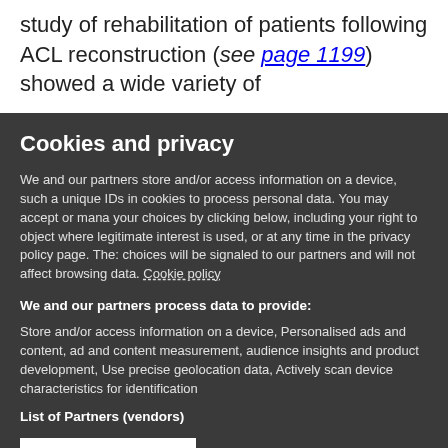study of rehabilitation of patients following ACL reconstruction (see page 1199) showed a wide variety of
Cookies and privacy
We and our partners store and/or access information on a device, such as unique IDs in cookies to process personal data. You may accept or manage your choices by clicking below, including your right to object where legitimate interest is used, or at any time in the privacy policy page. These choices will be signaled to our partners and will not affect browsing data. Cookie policy
We and our partners process data to provide:
Store and/or access information on a device, Personalised ads and content, ad and content measurement, audience insights and product development, Use precise geolocation data, Actively scan device characteristics for identification
List of Partners (vendors)
I Accept